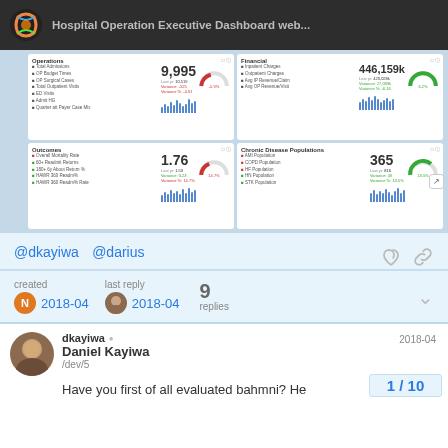Hospital Operation Executive Dashboard web...
[Figure (screenshot): Hospital Operation Executive Dashboard showing four quadrant panels: Operations (Total Admissions 9,995), Financial (Inpatient Charges 446,159k), Outcomes (Overall Mortality Rate 1.76), Chronic Disease Populations (AMI Population 365), each with bar charts and gauge indicators.]
@dkayiwa @darius
created
2018-04
last reply
2018-04
9 replies
dkayiwa
Daniel Kayiwa
/dev/5
2018-04
Have you first of all evaluated bahmni? He
1 / 10